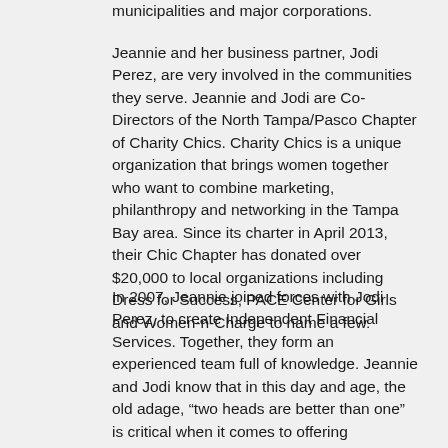municipalities and major corporations.
Jeannie and her business partner, Jodi Perez, are very involved in the communities they serve. Jeannie and Jodi are Co-Directors of the North Tampa/Pasco Chapter of Charity Chics. Charity Chics is a unique organization that brings women together who want to combine marketing, philanthropy and networking in the Tampa Bay area. Since its charter in April 2013, their Chic Chapter has donated over $20,000 to local organizations including Dress for Success, PACE Center for Girls and Women-n-Charge to name a few.
In 2007, Jeannie joined forces with Jodi Perez, to create Independent Financial Services. Together, they form an experienced team full of knowledge. Jeannie and Jodi know that in this day and age, the old adage, “two heads are better than one” is critical when it comes to offering professional